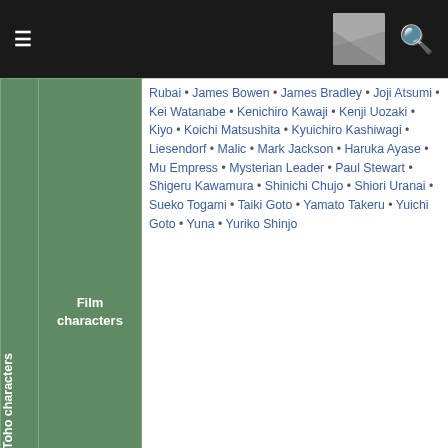Navigation header with hamburger menu, flag icon, and search icon
| Category | Sub-category | Characters |
| --- | --- | --- |
| Other Toho characters | Film characters | Rubai • James Bowen • James Bradley • Joji Atsumi • Kei Watanabe • Kenichiro Kawaji • Kenji Uozaki • Kiyo • Koichi Matsushita • Kyuichiro Kashiwagi • Liesendorf • Malic • Mark Jackson • Haruka Ayase • Mu Empress • Mysterian Leader • Paul Stewart • Shigeru Kawamura • Shinichi Chujo • Shiori Uranai • Sueko Togami • Taiki Goto • Yamato Takeru • Yuichi Goto • Yuna • Yuriko Shinjo |
| Other Toho characters | Television characters | Ai Uozumi • Akira • Akira Dentsuin • Akira Hojo • Daiba Datta • Masato Kazama • Fudora • Garuma • Go Kamiya • Go Kazama • Guyborg 801 • Guyborg GX-9 • Herodenia III • Hikaru Sakimori • Iguana • Jenny • Jenobard • Jin Hakariya • Ken Shido • Koichi Hayami • Kotaro Rai • Kotaro Ushiwaka • Kuzan • L-Banda • Shinya Takeda • Makoto Sorimachi • Megumi Shion • Metal Master • Mika Shido • Minoh • Monster Uncle • Mr. Bikross • Mr. K • Nadeshiko • Naoto Matsuzaka • Osamu Saionji • Takeshi Yamato • Tappei Mikami |